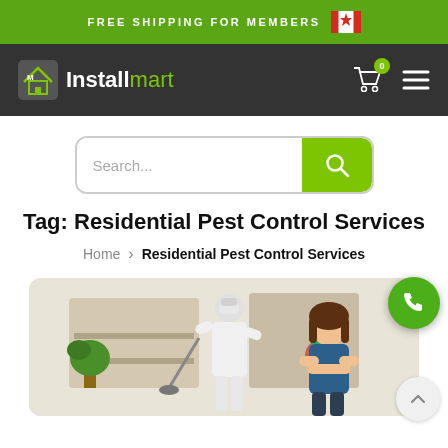FREE SHIPPING FOR MEMBERS
[Figure (logo): Installmart logo with house icon on dark nav bar]
[Figure (screenshot): Search bar with green search button]
Tag: Residential Pest Control Services
Home > Residential Pest Control Services
[Figure (photo): Photo of pest control worker in white protective suit and mask with homeowner woman standing inside a living room]